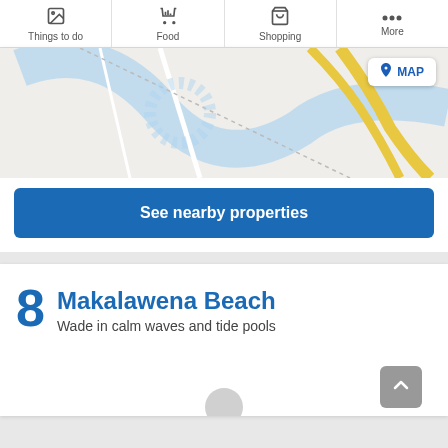Things to do | Food | Shopping | More
[Figure (map): Partial map view showing roads, water features in blue, and a yellow road/highway intersection]
MAP
See nearby properties
8 Makalawena Beach
Wade in calm waves and tide pools